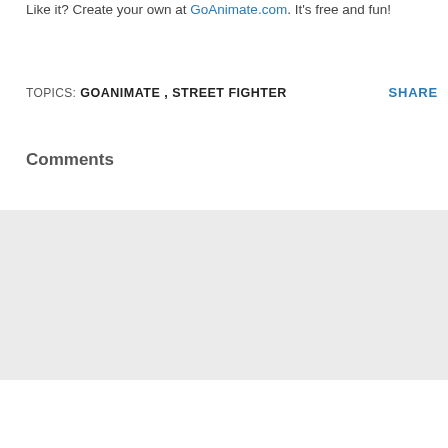Like it? Create your own at GoAnimate.com. It's free and fun!
TOPICS: GOANIMATE , STREET FIGHTER    SHARE
Comments
[Figure (screenshot): Comment input area with avatar icon and 'Enter Comment' placeholder text on a light gray background]